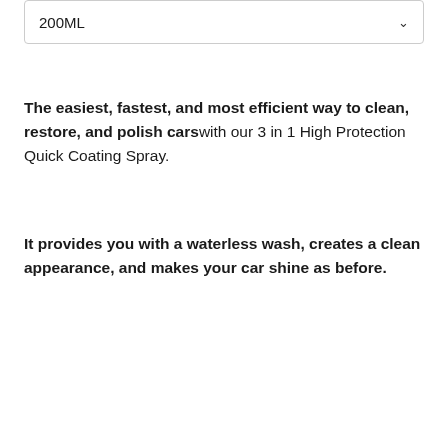[Figure (screenshot): Dropdown selector showing '200ML' with a chevron/arrow on the right side, styled as a form select element with a border]
The easiest, fastest, and most efficient way to clean, restore, and polish cars with our 3 in 1 High Protection Quick Coating Spray.
It provides you with a waterless wash, creates a clean appearance, and makes your car shine as before.